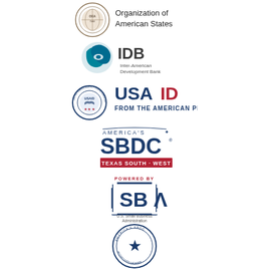[Figure (logo): Organization of American States seal/logo with circular emblem and text 'Organization of American States']
[Figure (logo): IDB Inter-American Development Bank logo with teal globe icon and text 'IDB Inter-American Development Bank']
[Figure (logo): USAID logo with circular seal and text 'USAID FROM THE AMERICAN PEOPLE' in blue and red]
[Figure (logo): America's SBDC Texas South-West logo with star and text in navy blue and red]
[Figure (logo): SBA U.S. Small Business Administration logo with 'POWERED BY' text above bracket design]
[Figure (logo): America's SBDC circular seal logo with star]